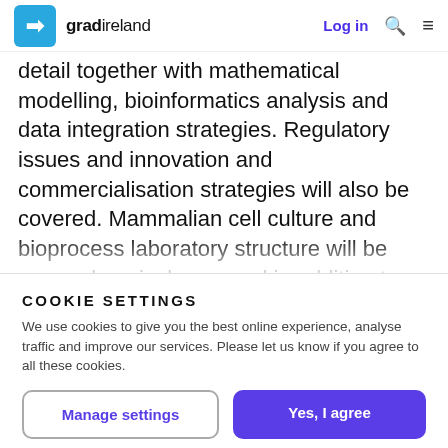gradireland — Log in
detail together with mathematical modelling, bioinformatics analysis and data integration strategies. Regulatory issues and innovation and commercialisation strategies will also be covered. Mammalian cell culture and bioprocess laboratory structure will be comprehensively covered in addition to novel approaches to therapeutic development. You will also receive a
COOKIE SETTINGS
We use cookies to give you the best online experience, analyse traffic and improve our services. Please let us know if you agree to all these cookies.
Manage settings
Yes, I agree